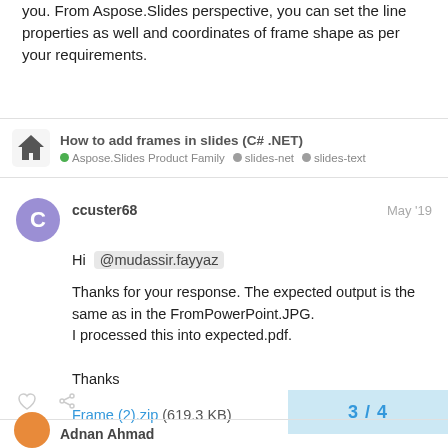you. From Aspose.Slides perspective, you can set the line properties as well and coordinates of frame shape as per your requirements.
How to add frames in slides (C# .NET)
Aspose.Slides Product Family  slides-net  slides-text
ccuster68  May '19
Hi @mudassir.fayyaz
Thanks for your response. The expected output is the same as in the FromPowerPoint.JPG.
I processed this into expected.pdf.

Thanks
Frame (2).zip (619.3 KB)
3 / 4
Adnan Ahmad